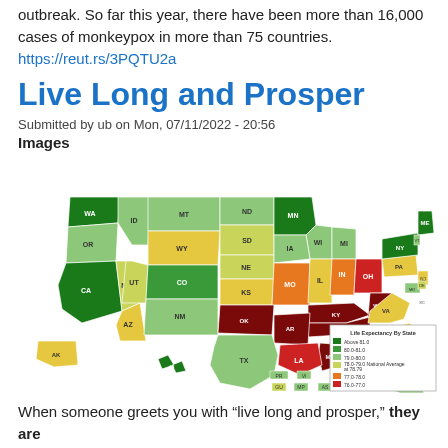outbreak. So far this year, there have been more than 16,000 cases of monkeypox in more than 75 countries.
https://reut.rs/3PQTU2a
Live Long and Prosper
Submitted by ub on Mon, 07/11/2022 - 20:56
Images
[Figure (map): Color-coded US map showing Life Expectancy By State with legend: Above 81.0 (dark green), 80.0-81.0 (medium green), 79.0-80.0 (light green), 78.0-79.0 National Average at 78.79 (yellow-green), 77.0-78.0 (orange), 76.0-77.0 (red), Below 76 (dark red/maroon). States labeled with abbreviations.]
When someone greets you with “live long and prosper,” they are